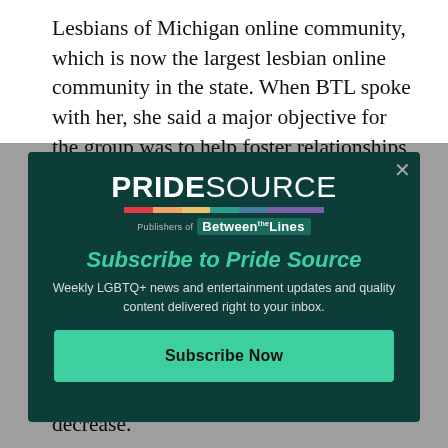Lesbians of Michigan online community, which is now the largest lesbian online community in the state. When BTL spoke with her, she said a major objective for the group was to help foster relationships, yes, but also to create both a network of like-minded individuals and a space of belonging
[Figure (screenshot): PrideSource subscription modal overlay on article page. Contains PrideSource logo with rainbow bar and 'Publishers of Between the Lines' tagline. Headline: 'Subscribe to Pride Source'. Subtext: 'Weekly LGBTQ+ news and entertainment updates and quality content delivered right to your inbox.' Button: 'Subscribe Now'. Close X button in top right.]
grow, that potential for drama may indeed decrease.